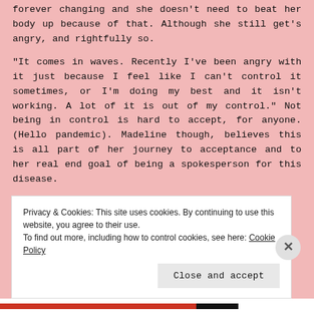forever changing and she doesn't need to beat her body up because of that. Although she still get's angry, and rightfully so.
“It comes in waves. Recently I’ve been angry with it just because I feel like I can’t control it sometimes, or I’m doing my best and it isn’t working. A lot of it is out of my control.” Not being in control is hard to accept, for anyone. (Hello pandemic). Madeline though, believes this is all part of her journey to acceptance and to her real end goal of being a spokesperson for this disease.
Privacy & Cookies: This site uses cookies. By continuing to use this website, you agree to their use.
To find out more, including how to control cookies, see here: Cookie Policy